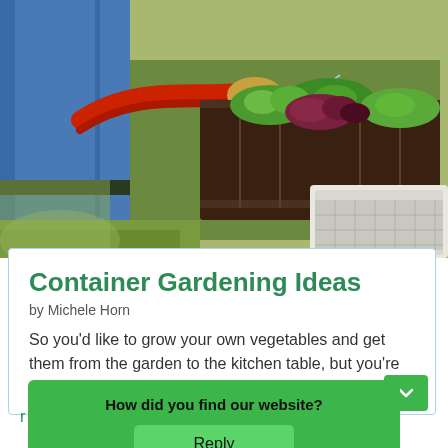[Figure (photo): A person wearing jeans and work gloves watering raised garden beds filled with green and red lettuce seedlings using a red hose, with wooden and white planter boxes visible.]
Container Gardening Ideas
by Michele Horn
So you'd like to grow your own vegetables and get them from the garden to the kitchen table, but you're facing one or more...
How did you find our website?
Reply